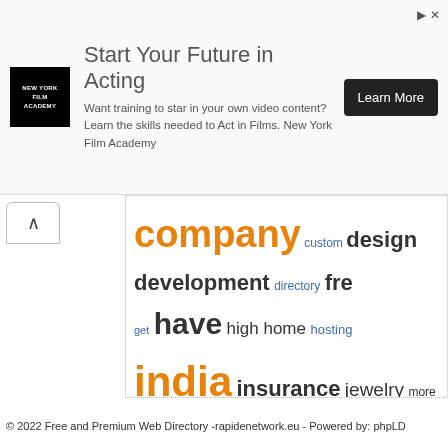[Figure (infographic): Advertisement banner for New York Film Academy: 'Start Your Future in Acting' with Learn More button]
[Figure (infographic): Word cloud containing website-related terms in various sizes and colors: company, custom, design, development, directory, free, get, have, high, home, hosting, india, insurance, jewelry, more, need, offer, offers, on, one, online, our, over, professional, provide, provides, quality, service, services, solutions, that, their, time, uk, us, we, web, website, with, you, your]
© 2022 Free and Premium Web Directory -rapidenetwork.eu - Powered by: phpLD